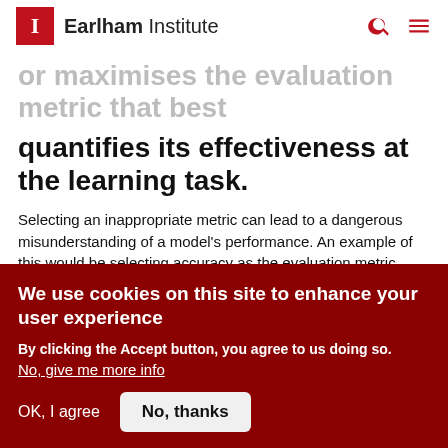Earlham Institute
or maximises the evaluation metric that best quantifies its effectiveness at the learning task.
Selecting an inappropriate metric can lead to a dangerous misunderstanding of a model's performance. An example of this would be selecting accuracy as the evaluation metric when working with an imbalanced target distribution. If the task is to classify samples as infected or uninfected, but 95% of samples belong to the uninfected
We use cookies on this site to enhance your user experience
By clicking the Accept button, you agree to us doing so.
No, give me more info
OK, I agree   No, thanks